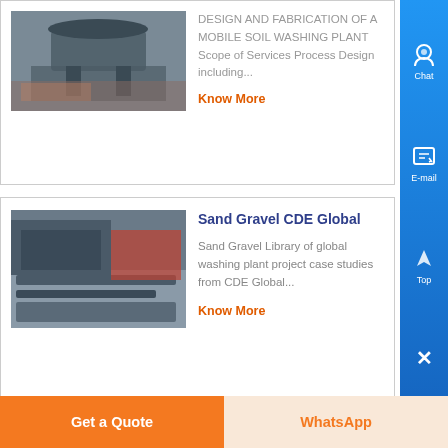[Figure (photo): Industrial soil washing plant equipment photo - large industrial machinery structure]
DESIGN AND FABRICATION OF A MOBILE SOIL WASHING PLANT Scope of Services Process Design including...
Know More
[Figure (photo): Sand gravel washing plant machinery photo - industrial conveyor/washing equipment]
Sand Gravel CDE Global
Sand Gravel Library of global washing plant project case studies from CDE Global...
Know More